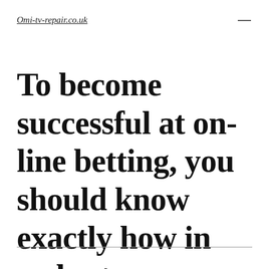Omi-tv-repair.co.uk
To become successful at on-line betting, you should know exactly how in order to come upwards